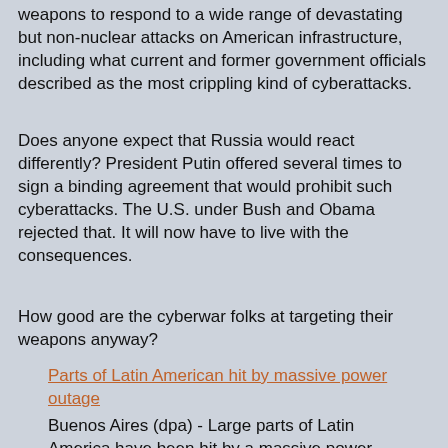weapons to respond to a wide range of devastating but non-nuclear attacks on American infrastructure, including what current and former government officials described as the most crippling kind of cyberattacks.
Does anyone expect that Russia would react differently? President Putin offered several times to sign a binding agreement that would prohibit such cyberattacks. The U.S. under Bush and Obama rejected that. It will now have to live with the consequences.
How good are the cyberwar folks at targeting their weapons anyway?
Parts of Latin American hit by massive power outage
Buenos Aires (dpa) - Large parts of Latin America have been hit by a massive power outage, local media and an Argentinian energy company said. Argentinian energy company Edesur confirmed on Twitter that all of Argentina and Uruguay had been affected by the outage. Argentinian newspaper La Nacion reported that Brazil and Chile had also been affected, while the BBC flagged outages in